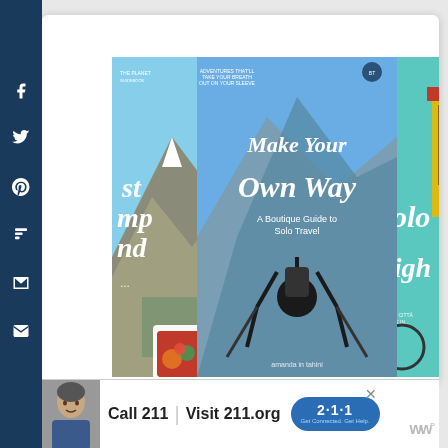[Figure (screenshot): Social media share sidebar with icons for Facebook, Twitter, Pinterest, Flipboard, Mix, and Email on dark navy background]
[Figure (photo): Three travel book covers displayed side by side: left shows mountain/Everest camp trekking, center shows 'Make Your Own Way – A Boutique Guide to Solo Travel' with female hiker arms raised, right shows colorful colonial building labeled 'Colo... High...']
390
WHAT'S NEXT → Mad Hatters Afternoon T...
[Figure (infographic): Advertisement bar: photo of elderly man, text 'Call 211 | Visit 211.org' with blue 2-1-1 badge logo. WNP logo on right.]